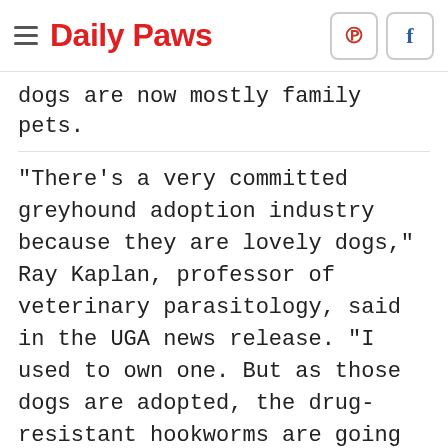Daily Paws
dogs are now mostly family pets.
"There's a very committed greyhound adoption industry because they are lovely dogs,"  Ray Kaplan, professor of veterinary parasitology, said in the UGA news release. "I used to own one. But as those dogs are adopted, the drug-resistant hookworms are going to show up in other pet dogs."
ADVERTISEMENT
How You Can Prevent Drug-Resistant Hookworm Infections